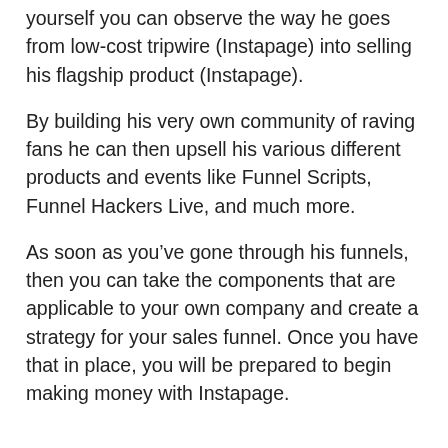yourself you can observe the way he goes from low-cost tripwire (Instapage) into selling his flagship product (Instapage).
By building his very own community of raving fans he can then upsell his various different products and events like Funnel Scripts, Funnel Hackers Live, and much more.
As soon as you’ve gone through his funnels, then you can take the components that are applicable to your own company and create a strategy for your sales funnel. Once you have that in place, you will be prepared to begin making money with Instapage.